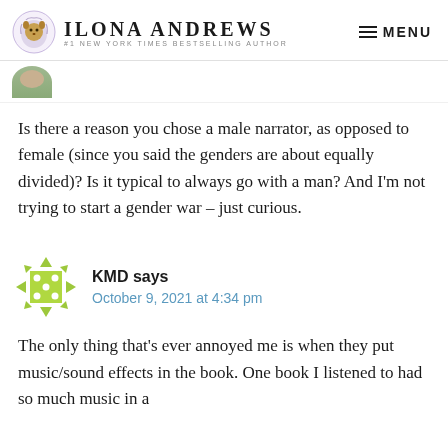Ilona Andrews — #1 New York Times Bestselling Author — MENU
[Figure (other): Partial avatar image of a person at the top of a comment thread]
Is there a reason you chose a male narrator, as opposed to female (since you said the genders are about equally divided)? Is it typical to always go with a man? And I'm not trying to start a gender war – just curious.
KMD says
October 9, 2021 at 4:34 pm
The only thing that's ever annoyed me is when they put music/sound effects in the book. One book I listened to had so much music in a